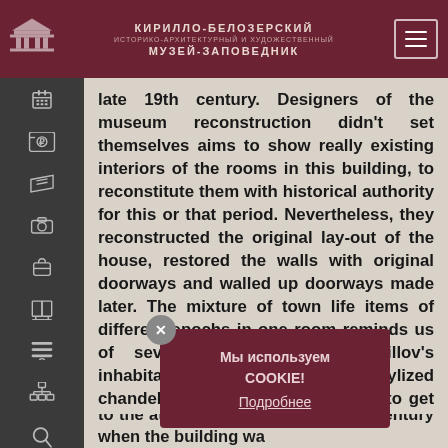КИРИЛЛО-БЕЛОЗЕРСКИЙ ИСТОРИКО-АРХИТЕКТУРНЫЙ И ХУДОЖЕСТВЕННЫЙ МУЗЕЙ-ЗАПОВЕДНИК
late 19th century. Designers of the museum reconstruction didn't set themselves aims to show really existing interiors of the rooms in this building, to reconstitute them with historical authority for this or that period. Nevertheless, they reconstructed the original lay-out of the house, restored the walls with original doorways and walled up doorways made later. The mixture of town life items of different epochs in one room reminds us of several generations of Kirillov's inhabitants. Wallpaper, curtains, stylized chandeliers give visitors a chance to get to the atmosphere of the century when the building wa...
Мы используем COOKIE! Подробнее